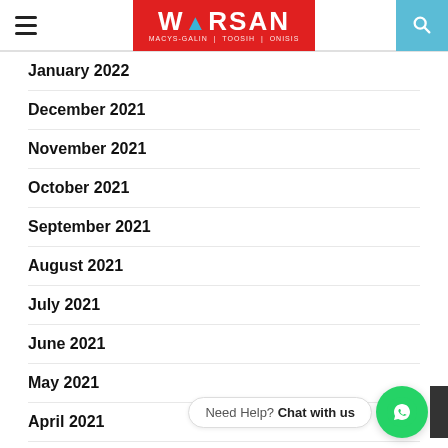WARSAN | MACYS-GALIN | TOOSIH | ONISIS
January 2022
December 2021
November 2021
October 2021
September 2021
August 2021
July 2021
June 2021
May 2021
April 2021
March 2021
February 2021
January 2021
Need Help? Chat with us